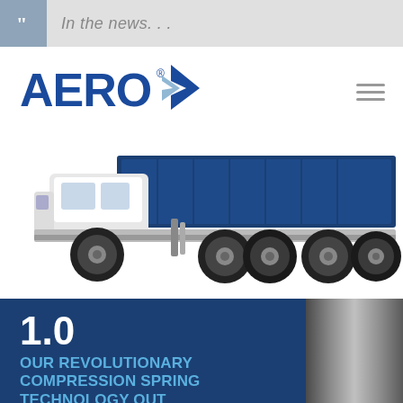In the news...
[Figure (logo): AERO company logo with blue triangular arrow icon]
[Figure (photo): Side view of a large white and blue multi-axle dump truck on white background]
1.0
OUR REVOLUTIONARY COMPRESSION SPRING TECHNOLOGY OUT MUSCLES THE